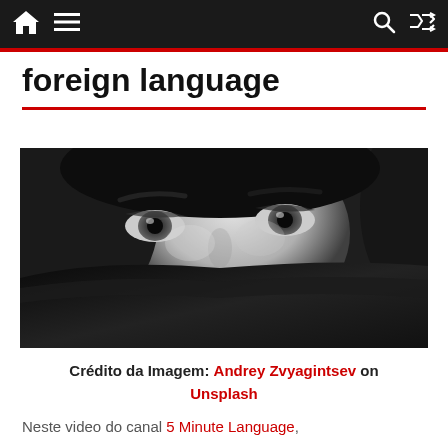Navigation bar with home, menu, search, and shuffle icons
foreign language
[Figure (photo): Close-up black and white portrait of a woman with piercing eyes, partially covering her face with dark fabric]
Crédito da Imagem: Andrey Zvyagintsev on Unsplash
Neste video do canal 5 Minute Language,